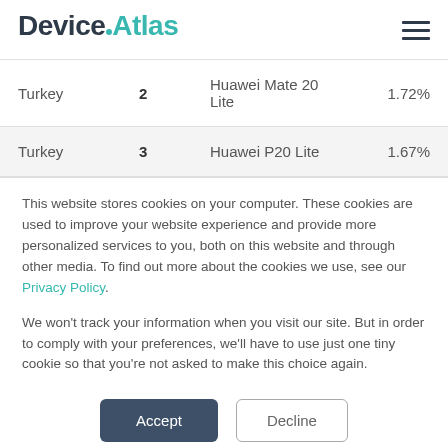DeviceAtlas
| Country | Rank | Device | Percentage |
| --- | --- | --- | --- |
| Turkey | 2 | Huawei Mate 20 Lite | 1.72% |
| Turkey | 3 | Huawei P20 Lite | 1.67% |
This website stores cookies on your computer. These cookies are used to improve your website experience and provide more personalized services to you, both on this website and through other media. To find out more about the cookies we use, see our Privacy Policy.
We won't track your information when you visit our site. But in order to comply with your preferences, we'll have to use just one tiny cookie so that you're not asked to make this choice again.